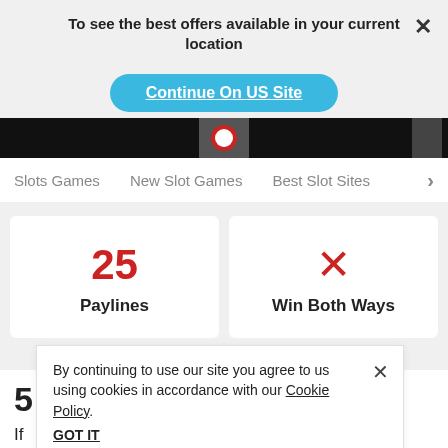To see the best offers available in your current location
Continue On US Site
Slots Games
New Slot Games
Best Slot Sites
[Figure (infographic): Card showing 25 Paylines in red]
[Figure (infographic): Card showing X mark and Win Both Ways label]
By continuing to use our site you agree to us using cookies in accordance with our Cookie Policy.
GOT IT
5...eview
If...rtfolio, you will notice a lot of medieval-themed slots. One of those